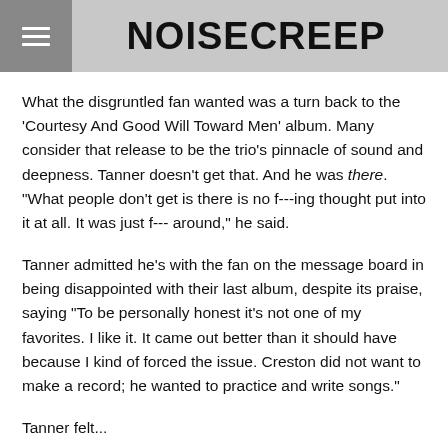NOISECREEP
What the disgruntled fan wanted was a turn back to the 'Courtesy And Good Will Toward Men' album. Many consider that release to be the trio's pinnacle of sound and deepness. Tanner doesn't get that. And he was there. "What people don't get is there is no f---ing thought put into it at all. It was just f--- around," he said.
Tanner admitted he's with the fan on the message board in being disappointed with their last album, despite its praise, saying "To be personally honest it's not one of my favorites. I like it. It came out better than it should have because I kind of forced the issue. Creston did not want to make a record; he wanted to practice and write songs."
Tanner felt...